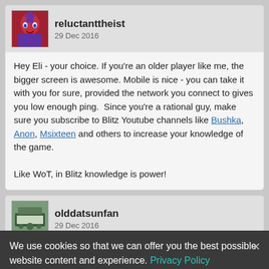reluctanttheist – 29 Dec 2016
Hey Eli - your choice.  If you're an older player like me, the bigger screen is awesome.  Mobile is nice - you can take it with you for sure, provided the network you connect to gives you low enough ping.  Since you're a rational guy, make sure you subscribe to Blitz Youtube channels like Bushka, Anon, Msixteen and others to increase your knowledge of the game.

Like WoT, in Blitz knowledge is power!
olddatsunfan – 29 Dec 2016
I prefer mobile and will stick with it if I can find myself an Android Tablet with a screen the size of an IPad or so.  Right now I'm playing on a Nvidia Shield and the performance is solid, but, the screen is smaller than I prefer!  My nephew prefers his gaming desktop and is
We use cookies so that we can offer you the best possible website content and experience. Privacy Policy